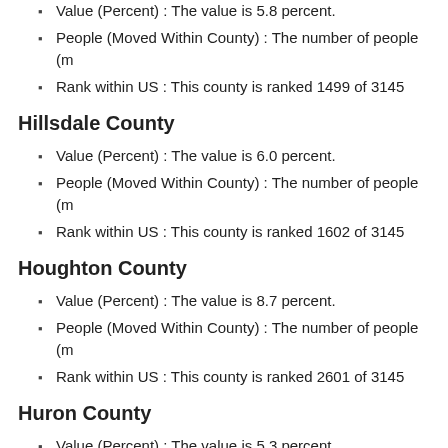Value (Percent) : The value is 5.8 percent.
People (Moved Within County) : The number of people (m
Rank within US : This county is ranked 1499 of 3145
Hillsdale County
Value (Percent) : The value is 6.0 percent.
People (Moved Within County) : The number of people (m
Rank within US : This county is ranked 1602 of 3145
Houghton County
Value (Percent) : The value is 8.7 percent.
People (Moved Within County) : The number of people (m
Rank within US : This county is ranked 2601 of 3145
Huron County
Value (Percent) : The value is 5.3 percent.
People (Moved Within County) : The number of people (m